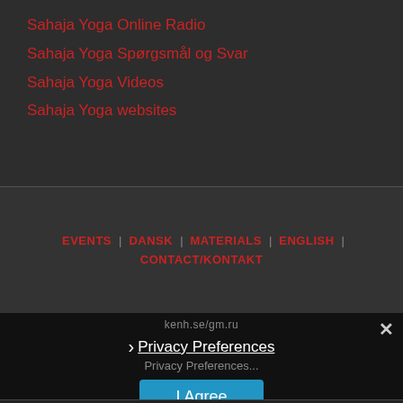Sahaja Yoga Online Radio
Sahaja Yoga Spørgsmål og Svar
Sahaja Yoga Videos
Sahaja Yoga websites
EVENTS | DANSK | MATERIALS | ENGLISH | CONTACT/KONTAKT
kenh.se/gm.ru
Privacy Preferences
Privacy Preferences...
I Agree